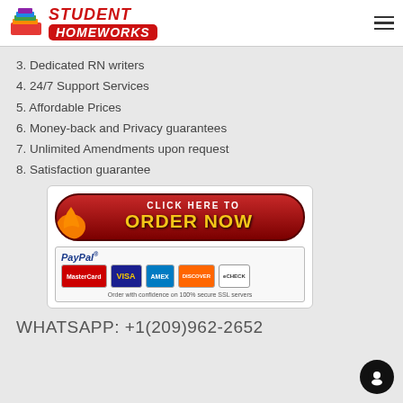STUDENT HOMEWORKS
3. Dedicated RN writers
4. 24/7 Support Services
5. Affordable Prices
6. Money-back and Privacy guarantees
7. Unlimited Amendments upon request
8. Satisfaction guarantee
[Figure (illustration): Click Here To Order Now button with PayPal payment options and credit card logos (MasterCard, Visa, Amex, Discover, eCheck). Text at bottom: Order with confidence on 100% secure SSL servers]
WHATSAPP: +1(209)962-2652